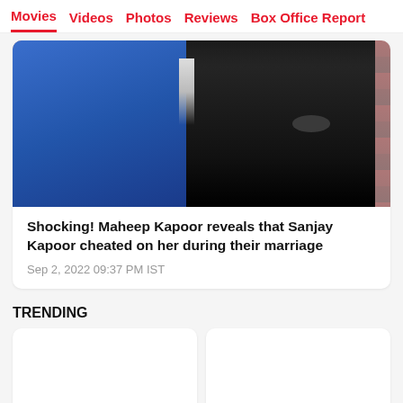Movies  Videos  Photos  Reviews  Box Office Report
[Figure (photo): Two people standing in front of a dark red wooden background. Person on the left wearing a blue blazer/jacket, person on the right wearing a black outfit.]
Shocking! Maheep Kapoor reveals that Sanjay Kapoor cheated on her during their marriage
Sep 2, 2022 09:37 PM IST
TRENDING
[Figure (photo): Trending card image placeholder (left)]
[Figure (photo): Trending card image placeholder (right)]